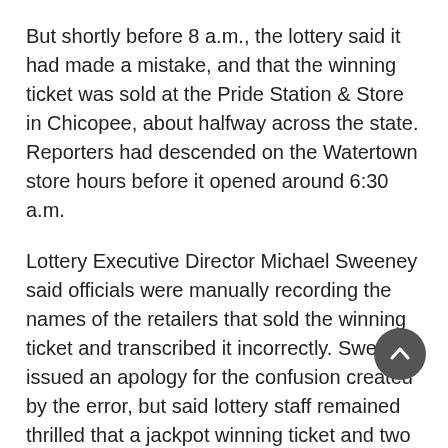But shortly before 8 a.m., the lottery said it had made a mistake, and that the winning ticket was sold at the Pride Station & Store in Chicopee, about halfway across the state. Reporters had descended on the Watertown store hours before it opened around 6:30 a.m.
Lottery Executive Director Michael Sweeney said officials were manually recording the names of the retailers that sold the winning ticket and transcribed it incorrectly. Sweeney issued an apology for the confusion created by the error, but said lottery staff remained thrilled that a jackpot winning ticket and two $1 million winning tickets were sold in Massachusetts — one of those at the Watertown location.
Mike Donatelli, a spokesman for the Pride Station & Store in